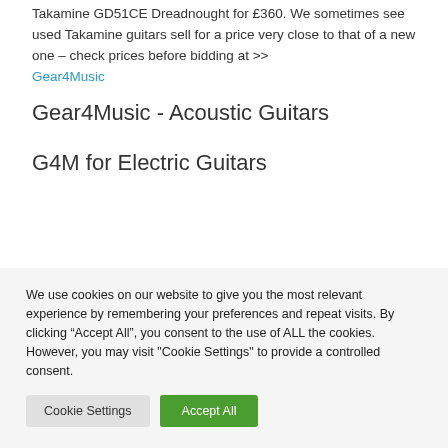Takamine GD51CE Dreadnought for £360. We sometimes see used Takamine guitars sell for a price very close to that of a new one – check prices before bidding at >>
Gear4Music
Gear4Music - Acoustic Guitars
G4M for Electric Guitars
We use cookies on our website to give you the most relevant experience by remembering your preferences and repeat visits. By clicking "Accept All", you consent to the use of ALL the cookies. However, you may visit "Cookie Settings" to provide a controlled consent.
Cookie Settings | Accept All